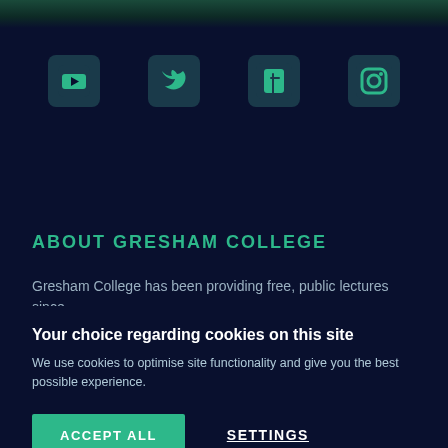[Figure (illustration): Dark teal decorative banner at the top of the page]
[Figure (infographic): Row of four social media icons: YouTube, Twitter, Facebook, Instagram — rendered in teal on dark navy background]
ABOUT GRESHAM COLLEGE
Gresham College has been providing free, public lectures since
Your choice regarding cookies on this site
We use cookies to optimise site functionality and give you the best possible experience.
ACCEPT ALL
SETTINGS